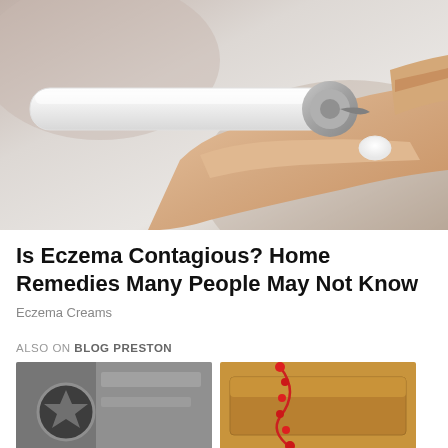[Figure (photo): Close-up photo of a hand squeezing cream from a white tube onto a fingertip, set against a light grey background]
Is Eczema Contagious? Home Remedies Many People May Not Know
Eczema Creams
ALSO ON BLOG PRESTON
[Figure (photo): Thumbnail image showing a police badge or police vehicle]
[Figure (photo): Thumbnail image showing a decorative box with red beads or jewelry]